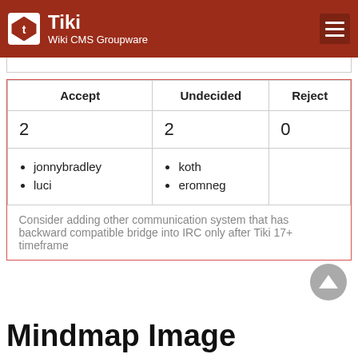Tiki Wiki CMS Groupware
| Accept | Undecided | Reject |
| --- | --- | --- |
| 2 | 2 | 0 |
| jonnybradley
luci | koth
eromneg |  |
Consider adding other communication system that has backward compatible bridge into IRC only after Tiki 17+ timeframe
Mindmap Image